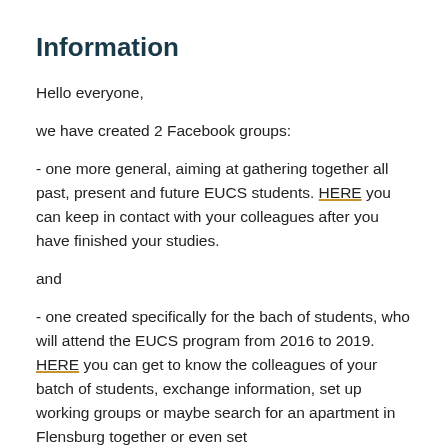Information
Hello everyone,
we have created 2 Facebook groups:
- one more general, aiming at gathering together all past, present and future EUCS students. HERE you can keep in contact with your colleagues after you have finished your studies.
and
- one created specifically for the bach of students, who will attend the EUCS program from 2016 to 2019. HERE you can get to know the colleagues of your batch of students, exchange information, set up working groups or maybe search for an apartment in Flensburg together or even set